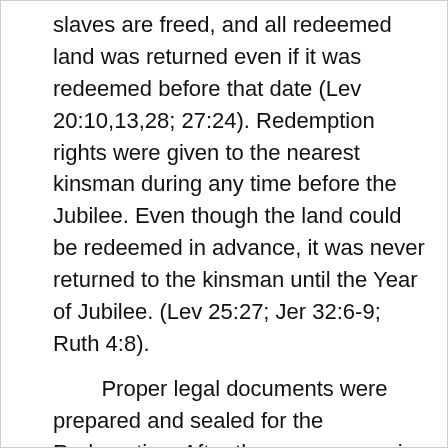slaves are freed, and all redeemed land was returned even if it was redeemed before that date (Lev 20:10,13,28; 27:24). Redemption rights were given to the nearest kinsman during any time before the Jubilee. Even though the land could be redeemed in advance, it was never returned to the kinsman until the Year of Jubilee. (Lev 25:27; Jer 32:6-9; Ruth 4:8).
Proper legal documents were prepared and sealed for the Redemption. After the necessary price was paid (Jer 32:6-9) the proper legal documents of two identical scrolls are prepared with the particulars written on the inside and witnesses on the outside. One is sealed for sure evidence and given to another for safekeeping. One is used